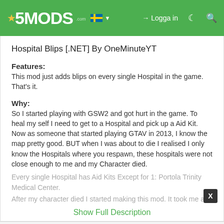5MODS — Logga in
Hospital Blips [.NET] By OneMinuteYT
Features:
This mod just adds blips on every single Hospital in the game. That's it.
Why:
So I started playing with GSW2 and got hurt in the game. To heal my self I need to get to a Hospital and pick up a Aid Kit. Now as someone that started playing GTAV in 2013, I know the map pretty good. BUT when I was about to die I realised I only know the Hospitals where you respawn, these hospitals were not close enough to me and my Character died.
Every single Hospital has Aid Kits Except for 1: Portola Trinity Medical Center.
After my character died I started making this mod. It took me and...
Show Full Description
.NET